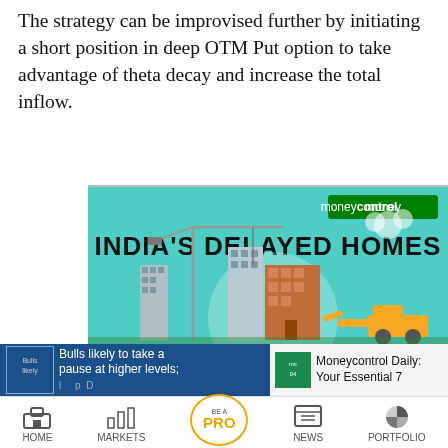The strategy can be improvised further by initiating a short position in deep OTM Put option to take advantage of theta decay and increase the total inflow.
[Figure (infographic): Moneycontrol branded infographic titled 'INDIA'S DELAYED HOMES' showing a construction scene with cranes and buildings in teal/mint color background]
Bulls likely to take a pause at higher levels;
Moneycontrol Daily: Your Essential 7